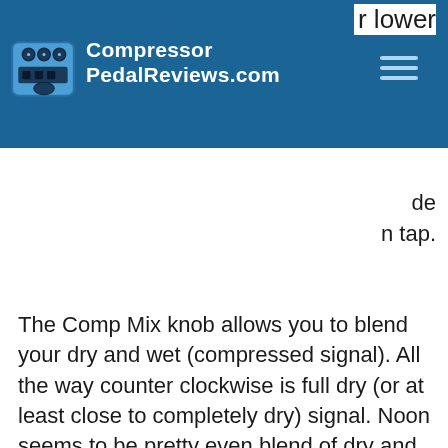CompressorPedalReviews.com
lower
de
on tap.
The Comp Mix knob allows you to blend your dry and wet (compressed signal). All the way counter clockwise is full dry (or at least close to completely dry) signal. Noon seems to be pretty even blend of dry and wet with increasing effected signal as you rotate more clockwise.
With the Comp dial around 8:00 - 11:00 the compression feels fairly subtle and the bass signal comes across more neutral but any higher than 11:00 and